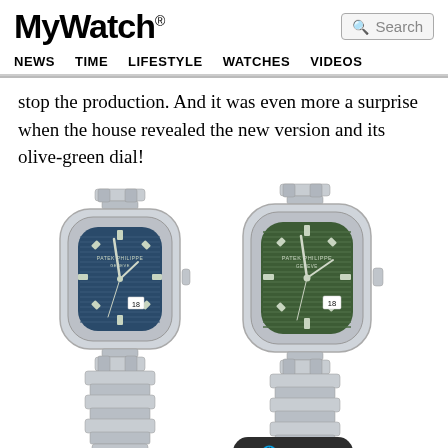MyWatch® NEWS TIME LIFESTYLE WATCHES VIDEOS Search
stop the production. And it was even more a surprise when the house revealed the new version and its olive-green dial!
[Figure (photo): Two Patek Philippe Nautilus watches side by side. Left watch has a blue dial, right watch has an olive-green dial. Both are stainless steel with integrated bracelets.]